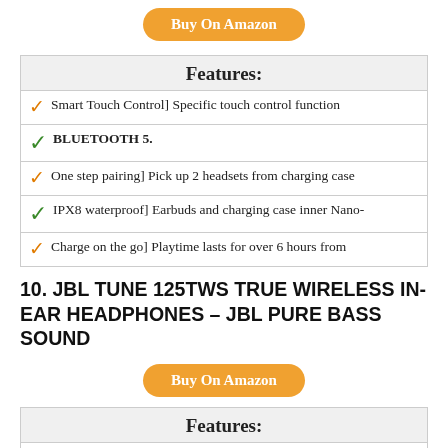Buy On Amazon
Features:
Smart Touch Control] Specific touch control function
BLUETOOTH 5.
One step pairing] Pick up 2 headsets from charging case
IPX8 waterproof] Earbuds and charging case inner Nano-
Charge on the go] Playtime lasts for over 6 hours from
10. JBL TUNE 125TWS TRUE WIRELESS IN-EAR HEADPHONES – JBL PURE BASS SOUND
Buy On Amazon
Features:
JBL PURE BASS SOUND: JBL has powered festivals and